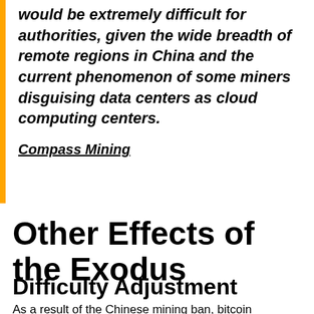would be extremely difficult for authorities, given the wide breadth of remote regions in China and the current phenomenon of some miners disguising data centers as cloud computing centers.
Compass Mining
Other Effects of the Exodus
Difficulty Adjustment
As a result of the Chinese mining ban, bitcoin recorded